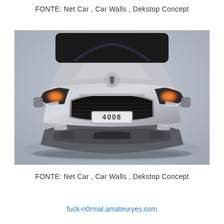FONTE: Net Car , Car Walls , Dekstop Concept
[Figure (photo): Front view of a Peugeot 4008 SUV in silver/grey color against a light grey gradient background. The car faces directly toward the viewer showing the front grille with '4008' license plate, headlights illuminated in orange/amber, Peugeot lion logo on hood, and side mirrors.]
FONTE: Net Car , Car Walls , Dekstop Concept
fuck-n0rmal.amateuryes.com